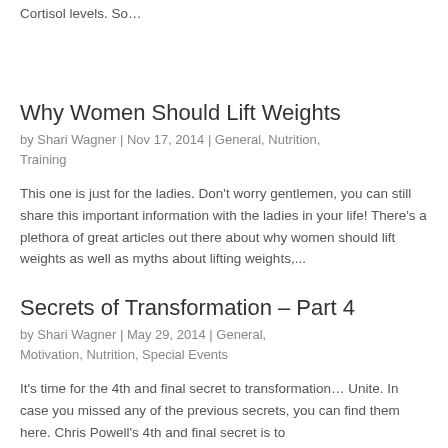Cortisol levels. So…
Why Women Should Lift Weights
by Shari Wagner | Nov 17, 2014 | General, Nutrition, Training
This one is just for the ladies. Don't worry gentlemen, you can still share this important information with the ladies in your life! There's a plethora of great articles out there about why women should lift weights as well as myths about lifting weights,...
Secrets of Transformation – Part 4
by Shari Wagner | May 29, 2014 | General, Motivation, Nutrition, Special Events
It's time for the 4th and final secret to transformation… Unite. In case you missed any of the previous secrets, you can find them here. Chris Powell's 4th and final secret is to